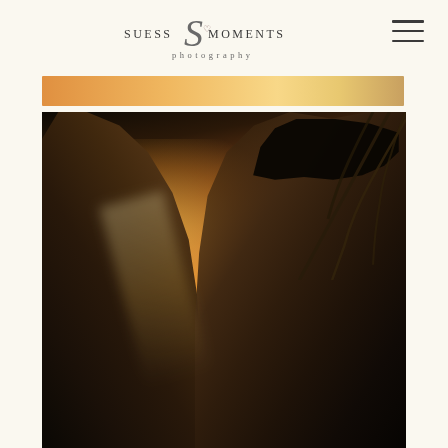[Figure (logo): Suess Moments Photography logo with stylized script S and heart, serif uppercase lettering, with 'photography' in spaced lowercase below]
[Figure (photo): Romantic couple portrait at golden hour sunset. A man on the left and a woman on the right wearing a wide-brimmed dark hat face each other closely. Warm orange and golden backlight creates a glowing halo effect. Wild grass blows in the upper right. Both figures are in silhouette against the bright sunset sky.]